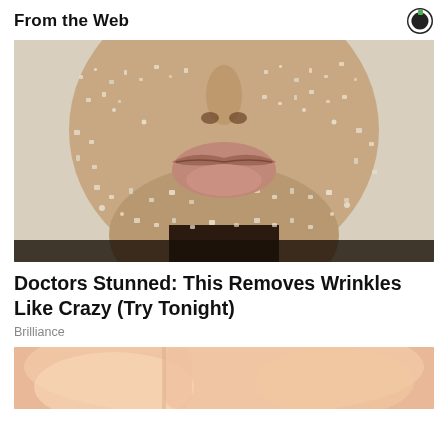From the Web
[Figure (photo): Close-up of a person's lower face covered in sugar crystals or salt granules, with prominent lips visible, on a light background.]
Doctors Stunned: This Removes Wrinkles Like Crazy (Try Tonight)
Brilliance
[Figure (photo): Partial photo, bottom portion of another advertisement image, showing skin tones in pink/peach colors.]